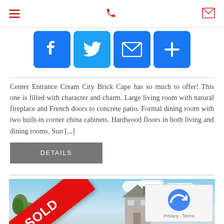Navigation bar with hamburger menu, phone icon, and email icon
[Figure (infographic): Social share buttons: Facebook (f), Twitter bird, Email envelope, Plus/More button - all in blue rounded squares]
Center Entrance Cream City Brick Cape has so much to offer! This one is filled with character and charm. Large living room with natural fireplace and French doors to concrete patio. Formal dining room with two built-in corner china cabinets. Hardwood floors in both living and dining rooms. Sun [...]
DETAILS
[Figure (photo): Exterior photo of a house with a SOLD banner in red across the lower-left corner. House appears to be a Cape Cod style with siding, trees in foreground, chimney visible, and blue sky with clouds in background.]